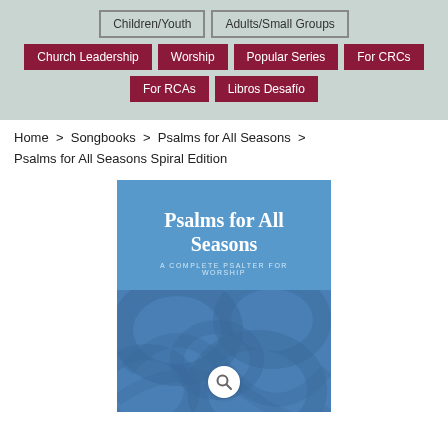Children/Youth
Adults/Small Groups
Church Leadership
Worship
Popular Series
For CRCs
For RCAs
Libros Desafío
Home > Songbooks > Psalms for All Seasons > Psalms for All Seasons Spiral Edition
[Figure (photo): Book cover of 'Psalms for All Seasons: A Complete Psalter for Worship' with a blue background, decorative pattern, and a search icon magnifying glass at the bottom center.]